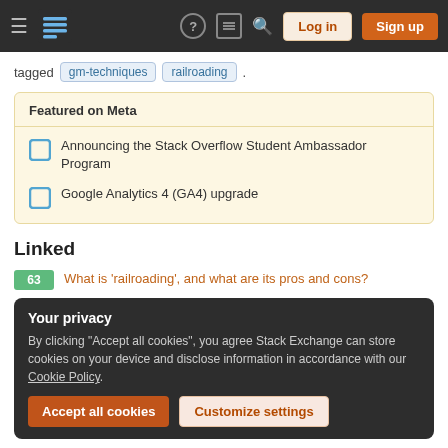Navigation bar with logo, Log in, Sign up buttons
tagged gm-techniques railroading .
Featured on Meta
Announcing the Stack Overflow Student Ambassador Program
Google Analytics 4 (GA4) upgrade
Linked
63 What is 'railroading', and what are its pros and cons?
Your privacy
By clicking "Accept all cookies", you agree Stack Exchange can store cookies on your device and disclose information in accordance with our Cookie Policy.
58 What is Sandbox play?